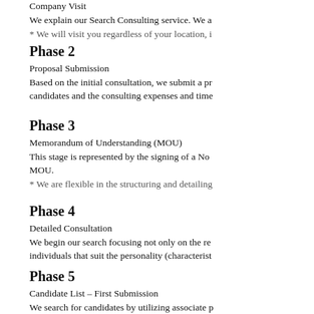Company Visit
We explain our Search Consulting service. We a
* We will visit you regardless of your location, i
Phase 2
Proposal Submission
Based on the initial consultation, we submit a pr candidates and the consulting expenses and time
Phase 3
Memorandum of Understanding (MOU)
This stage is represented by the signing of a No MOU.
* We are flexible in the structuring and detailing
Phase 4
Detailed Consultation
We begin our search focusing not only on the re individuals that suit the personality (characterist
Phase 5
Candidate List – First Submission
We search for candidates by utilizing associate p of our widespread networks.